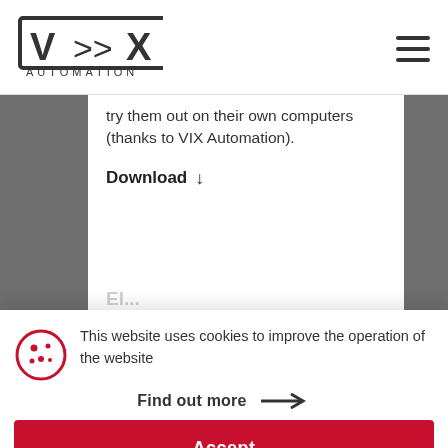[Figure (logo): VIX Automation logo with box around VIX letters and arrows, text AUTOMATION below]
try them out on their own computers (thanks to VIX Automation).
Download ↓
This website uses cookies to improve the operation of the website
Find out more →
Accept